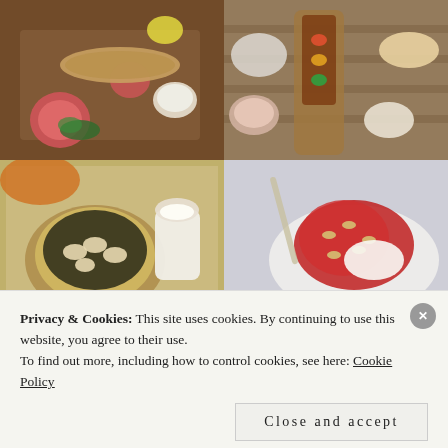[Figure (photo): Four food photos in a 2x2 grid. Top-left: grilled fish with grapefruit, lemon, dill, and dipping sauce on a wooden board. Top-right: skewers of grilled meat and vegetables on a long wooden plank with sauces and a burrito on a slatted table. Bottom-left: bowl of dumplings/pelmeni in broth with a pitcher of cream and a plaid tablecloth. Bottom-right: dessert with red berry sauce and pine nuts on a plate.]
Privacy & Cookies: This site uses cookies. By continuing to use this website, you agree to their use.
To find out more, including how to control cookies, see here: Cookie Policy
Close and accept